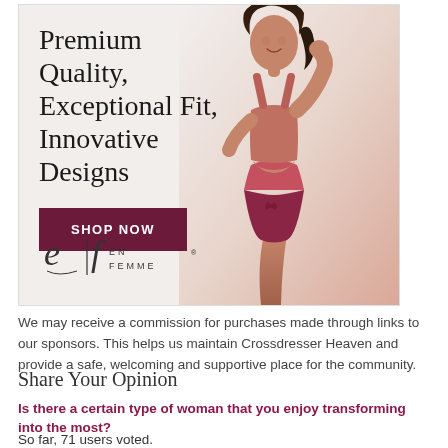[Figure (photo): Advertisement banner for En Femme lingerie brand showing a woman wearing a coral/terracotta crop top and high-waist underwear set, with the headline 'Premium Quality, Exceptional Fit, Innovative Designs', a 'SHOP NOW' button, and the En Femme logo]
We may receive a commission for purchases made through links to our sponsors. This helps us maintain Crossdresser Heaven and provide a safe, welcoming and supportive place for the community.
Share Your Opinion
Is there a certain type of woman that you enjoy transforming into the most?
So far, 71 users voted.